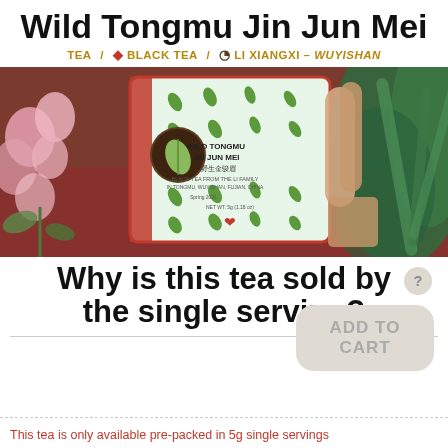Wild Tongmu Jin Jun Mei
TEA / ♦ BLACK TEA / ⊕ LI XIANGXI – WUYISHAN
[Figure (photo): Photo of a hand holding a Wild Tongmu Jin Jun Mei tea packet (green with red border, leaf motif dots), with pink flowers on the left and aloe/succulent plants on the right, on a dark red/maroon surface.]
Why is this tea sold by the single serving?
ADD TO CART
This tea is only available pre-packed in 5g single servings